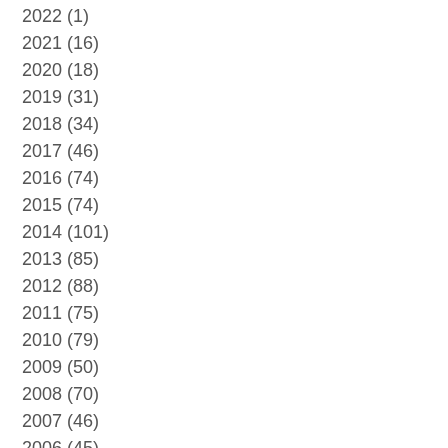2022 (1)
2021 (16)
2020 (18)
2019 (31)
2018 (34)
2017 (46)
2016 (74)
2015 (74)
2014 (101)
2013 (85)
2012 (88)
2011 (75)
2010 (79)
2009 (50)
2008 (70)
2007 (46)
2006 (45)